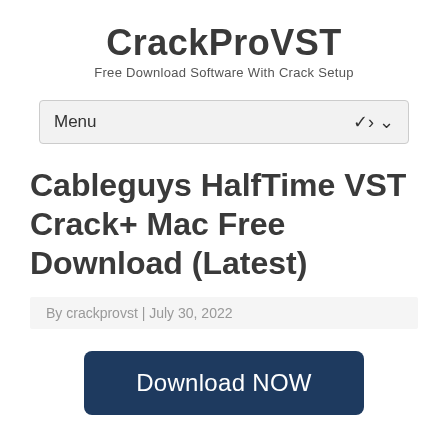CrackProVST
Free Download Software With Crack Setup
Menu
Cableguys HalfTime VST Crack+ Mac Free Download (Latest)
By crackprovst | July 30, 2022
Download NOW